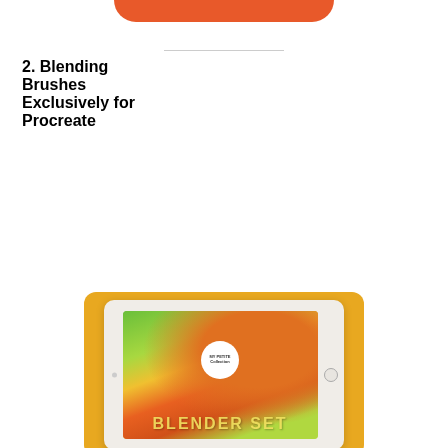[Figure (other): Orange rounded bar at the top of the page, partially visible]
2. Blending Brushes Exclusively for Procreate
[Figure (photo): iPad tablet displaying a colorful blending brush artwork with green and orange swirls, a white circular badge logo, and text reading BLENDER SET at the bottom, on a golden yellow background]